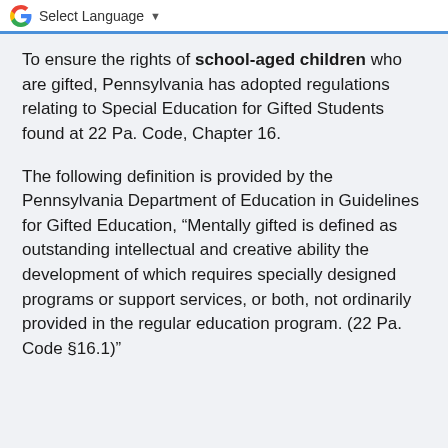Select Language
To ensure the rights of school-aged children who are gifted, Pennsylvania has adopted regulations relating to Special Education for Gifted Students found at 22 Pa. Code, Chapter 16.
The following definition is provided by the Pennsylvania Department of Education in Guidelines for Gifted Education, “Mentally gifted is defined as outstanding intellectual and creative ability the development of which requires specially designed programs or support services, or both, not ordinarily provided in the regular education program. (22 Pa. Code §16.1)”